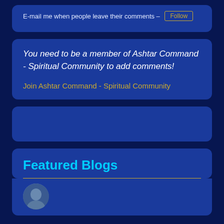E-mail me when people leave their comments – Follow
You need to be a member of Ashtar Command - Spiritual Community to add comments!
Join Ashtar Command - Spiritual Community
[Figure (other): Empty blue card panel]
Featured Blogs
[Figure (photo): Partial avatar/profile photo at bottom of page]